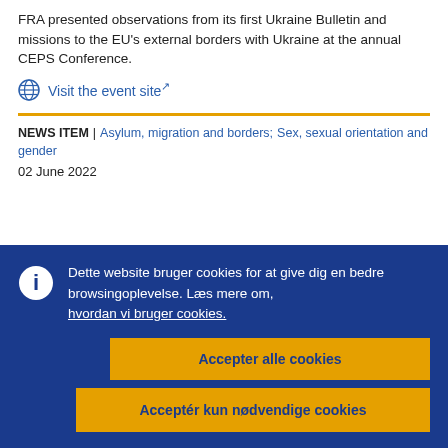FRA presented observations from its first Ukraine Bulletin and missions to the EU's external borders with Ukraine at the annual CEPS Conference.
Visit the event site
NEWS ITEM | Asylum, migration and borders; Sex, sexual orientation and gender
02 June 2022
Dette website bruger cookies for at give dig en bedre browsingoplevelse. Læs mere om, hvordan vi bruger cookies.
Accepter alle cookies
Acceptér kun nødvendige cookies